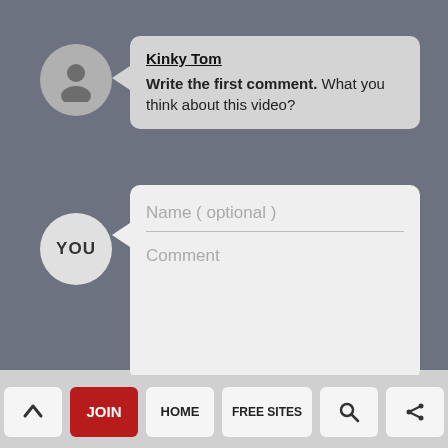[Figure (screenshot): User avatar circle with person silhouette icon, gray background]
Kinky Tom
Write the first comment. What you think about this video?
[Figure (illustration): YOU avatar circle, light gray with text YOU]
Name ( optional )
Comment
Add Comment
^ JOIN HOME FREE SITES 🔍 <